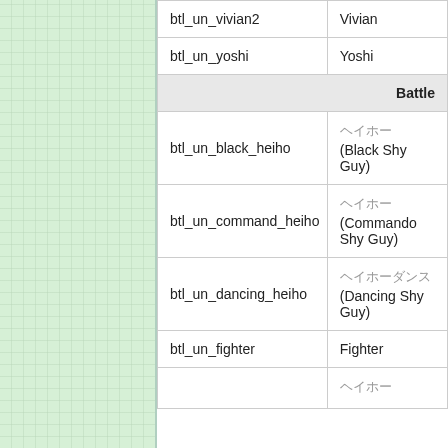| Identifier | Name |
| --- | --- |
| btl_un_vivian2 | Vivian |
| btl_un_yoshi | Yoshi |
| [Battle section header] | Battle |
| btl_un_black_heiho | ヘイホー (Black Shy Guy) |
| btl_un_command_heiho | ヘイホー (Commando Shy Guy) |
| btl_un_dancing_heiho | ヘイホーダンス (Dancing Shy Guy) |
| btl_un_fighter | Fighter |
|  | ヘイホー |